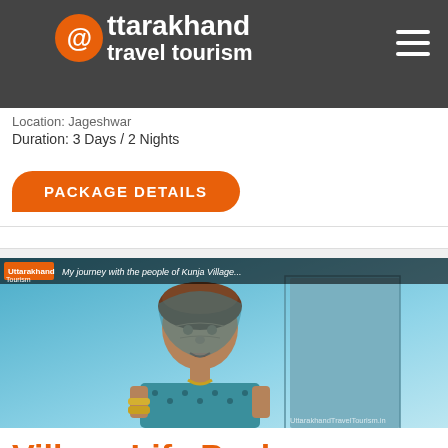uttarakhand travel tourism
Location: Jageshwar
Duration: 3 Days / 2 Nights
PACKAGE DETAILS
[Figure (photo): Photo of an elderly Indian village woman with text overlay 'My journey with the people of Kunja Village']
Village Life Package
Location: Jageshwar
Duration: 3 Days / 2 Nights
PACKAGE